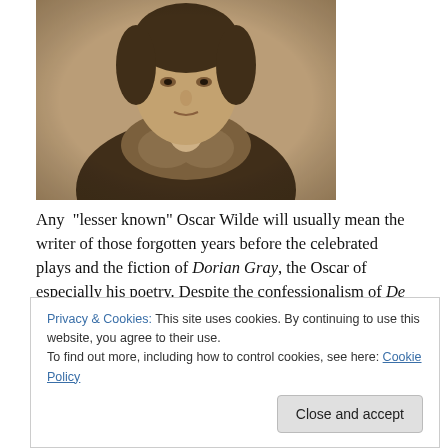[Figure (photo): Sepia-toned historical portrait photograph of Oscar Wilde, showing him from the chest up, wearing a fur-collared coat, looking to the side.]
Any “lesser known” Oscar Wilde will usually mean the writer of those forgotten years before the celebrated plays and the fiction of Dorian Gray, the Oscar of especially his poetry. Despite the confessionalism of De Profundis there is no autobiography, so it is the early poetry offers a few clues to the character and outlook. It takes the reader across the development towards  assumption at Oxford of
Privacy & Cookies: This site uses cookies. By continuing to use this website, you agree to their use.
To find out more, including how to control cookies, see here: Cookie Policy
Close and accept